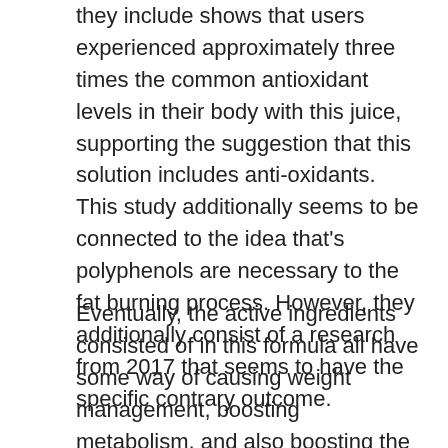they include shows that users experienced approximately three times the common antioxidant levels in their body with this juice, supporting the suggestion that this solution includes anti-oxidants. This study additionally seems to be connected to the idea that's polyphenols are necessary to the fat burning process. However, they additionally consist of a research from 2017 that seems to have the specific contrary outcome.
Eventually, the active ingredients consisted of in this formula all have some way of causing weight management, boosting metabolism, and also boosting the user's wellness. Nevertheless, the reality that all of these ingredients are included in